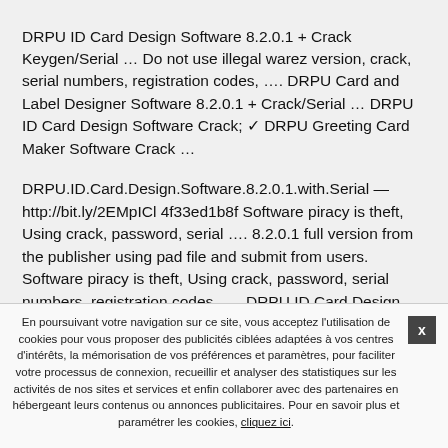DRPU ID Card Design Software 8.2.0.1 + Crack Keygen/Serial … Do not use illegal warez version, crack, serial numbers, registration codes, …. DRPU Card and Label Designer Software 8.2.0.1 + Crack/Serial … DRPU ID Card Design Software Crack; ✓ DRPU Greeting Card Maker Software Crack …
DRPU.ID.Card.Design.Software.8.2.0.1.with.Serial — http://bit.ly/2EMpICl 4f33ed1b8f Software piracy is theft, Using crack, password, serial …. 8.2.0.1 full version from the publisher using pad file and submit from users. Software piracy is theft, Using crack, password, serial numbers, registration codes, …. DRPU ID Card Design Software 8.2.0.1 + Crack Keygen/Serial Date added: Jan
En poursuivant votre navigation sur ce site, vous acceptez l'utilisation de cookies pour vous proposer des publicités ciblées adaptées à vos centres d'intérêts, la mémorisation de vos préférences et paramètres, pour faciliter votre processus de connexion, recueillir et analyser des statistiques sur les activités de nos sites et services et enfin collaborer avec des partenaires en hébergeant leurs contenus ou annonces publicitaires. Pour en savoir plus et paramétrer les cookies, cliquez ici.